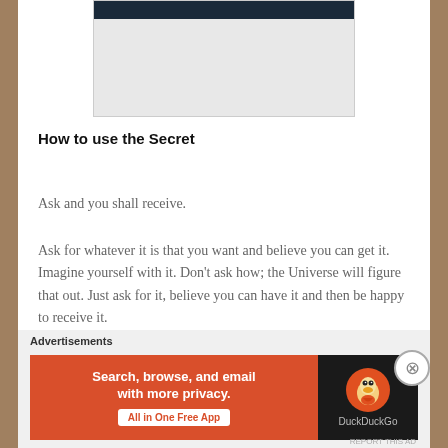[Figure (screenshot): Partial screenshot of a device or book image, mostly grey/white with a dark navy bar at top]
How to use the Secret
Ask and you shall receive.
Ask for whatever it is that you want and believe you can get it. Imagine yourself with it. Don't ask how; the Universe will figure that out. Just ask for it, believe you can have it and then be happy to receive it.
Every successful person did not know how they were going to do it. They just knew they were going to do it. If you think
Advertisements
[Figure (screenshot): DuckDuckGo advertisement banner: orange left panel with 'Search, browse, and email with more privacy. All in One Free App' and dark right panel with DuckDuckGo logo]